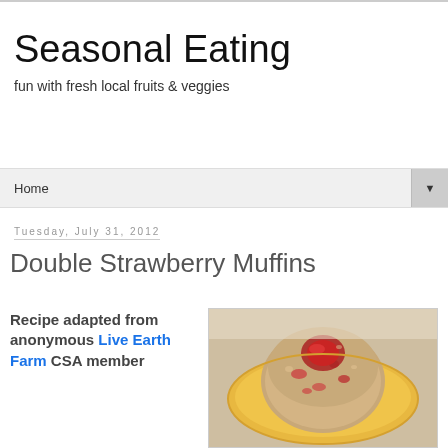Seasonal Eating
fun with fresh local fruits & veggies
Home ▼
Tuesday, July 31, 2012
Double Strawberry Muffins
Recipe adapted from anonymous Live Earth Farm CSA member
[Figure (photo): A strawberry muffin on a yellow plate, placed on a lace-patterned surface. The muffin has visible strawberry pieces and a glossy jam top.]